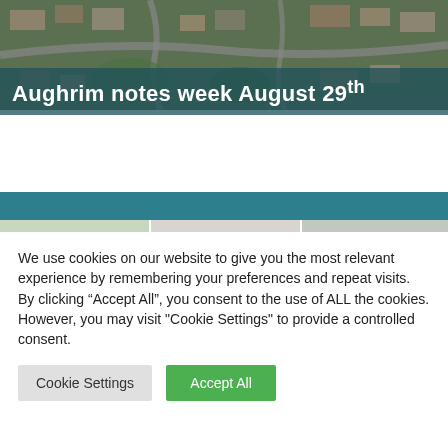[Figure (photo): Aerial view of a town/village from above showing roads, houses and green areas]
Aughrim notes week August 29th
[Figure (photo): Three-panel photo strip: left shows a stone house with conservatory and trees; middle shows a black and white historical photo of people; right shows a Home Savers retail store front with car park]
We use cookies on our website to give you the most relevant experience by remembering your preferences and repeat visits. By clicking “Accept All”, you consent to the use of ALL the cookies. However, you may visit "Cookie Settings" to provide a controlled consent.
Cookie Settings
Accept All